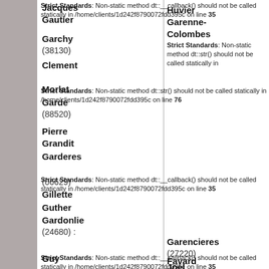Strict Standards: Non-static method dt::__callback() should not be called statically in /home/clients/1d242f8790072fdd395c on line 35
Jacques Gautier
Garchy (38130)
Clement
Strict Standards: Non-static method dt::str() should not be called statically in /home/clients/1d242f8790072fdd395c on line 76
Morlat Garde (88520)
Pierre Grandit Garderes
Strict Standards: Non-static method dt::__callback() should not be called statically in /home/clients/1d242f8790072fdd395c on line 35
Striez (06629)
Gillette Guther Gardonlie (24680)
Strict Standards: Non-static method dt::__callback() should not be called statically in /home/clients/1d242f8790072fdd395c on line 35
Guy Favard Garencieres (27220)
Joel
Strict Standards: Non-static method dt::str() should not be called statically in
Huvier Garenne-Colombes
Strict Standards: Non-static method dt::str() should not be called statically in